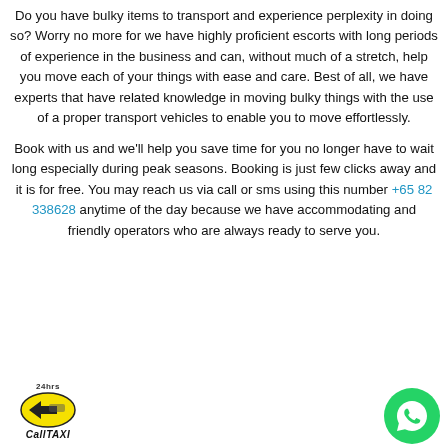Do you have bulky items to transport and experience perplexity in doing so? Worry no more for we have highly proficient escorts with long periods of experience in the business and can, without much of a stretch, help you move each of your things with ease and care. Best of all, we have experts that have related knowledge in moving bulky things with the use of a proper transport vehicles to enable you to move effortlessly.
Book with us and we'll help you save time for you no longer have to wait long especially during peak seasons. Booking is just few clicks away and it is for free. You may reach us via call or sms using this number +65 82 338628 anytime of the day because we have accommodating and friendly operators who are always ready to serve you.
[Figure (logo): CallTAXI logo with 24hrs text and taxi icon]
[Figure (logo): WhatsApp green circular badge icon]